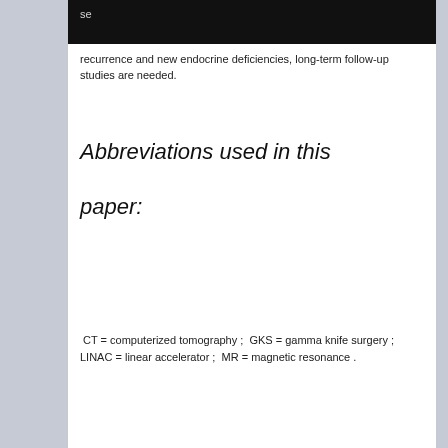recurrence and new endocrine deficiencies, long-term follow-up studies are needed.
Abbreviations used in this paper:
CT = computerized tomography ;  GKS = gamma knife surgery ;  LINAC = linear accelerator ;  MR = magnetic resonance .
[Figure (other): Advertisement banner for Orthofix M6-C Artificial Cervical Disc with tagline 'On the MOVE.']
[Figure (logo): American Association of (Neurological Surgeons logo with portrait medallion)]